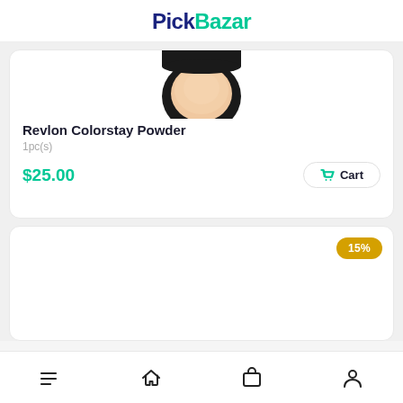PickBazar
[Figure (photo): Revlon Colorstay Powder compact product image, circular black compact with beige powder visible, partially cropped at top]
Revlon Colorstay Powder
1pc(s)
$25.00
Cart
[Figure (photo): Second product card showing 15% discount badge in gold/yellow, product image area is empty/white]
Navigation bar with menu, home, cart, and profile icons